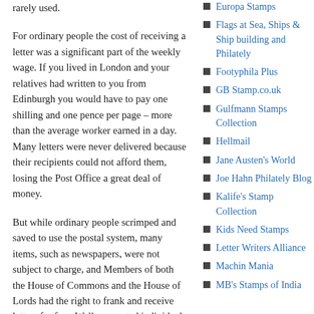rarely used.
For ordinary people the cost of receiving a letter was a significant part of the weekly wage. If you lived in London and your relatives had written to you from Edinburgh you would have to pay one shilling and one pence per page – more than the average worker earned in a day. Many letters were never delivered because their recipients could not afford them, losing the Post Office a great deal of money.
But while ordinary people scrimped and saved to use the postal system, many items, such as newspapers, were not subject to charge, and Members of both the House of Commons and the House of Lords had the right to frank and receive letters for free. Well-connected individuals could thus ask their MP to frank
Europa Stamps
Flags at Sea, Ships & Ship building and Philately
Footyphila Plus
GB Stamp.co.uk
Gulfmann Stamps Collection
Hellmail
Jane Austen's World
Joe Hahn Philately Blog
Kalife's Stamp Collection
Kids Need Stamps
Letter Writers Alliance
Machin Mania
MB's Stamps of India